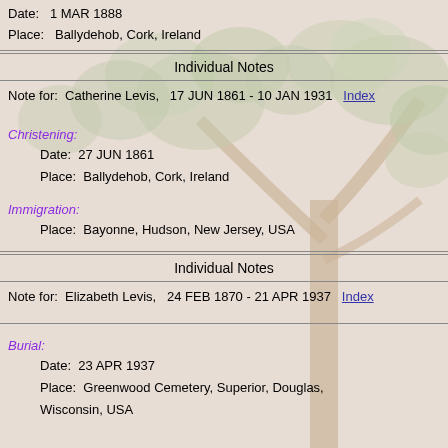Date:   1 MAR 1888
Place:   Ballydehob, Cork, Ireland
Individual Notes
Note for:   Catherine Levis,   17 JUN 1861 - 10 JAN 1931   Index
Christening:
    Date:   27 JUN 1861
    Place:   Ballydehob, Cork, Ireland
Immigration:
    Place:   Bayonne, Hudson, New Jersey, USA
Individual Notes
Note for:   Elizabeth Levis,   24 FEB 1870 - 21 APR 1937   Index
Burial:
    Date:   23 APR 1937
    Place:   Greenwood Cemetery, Superior, Douglas, Wisconsin, USA